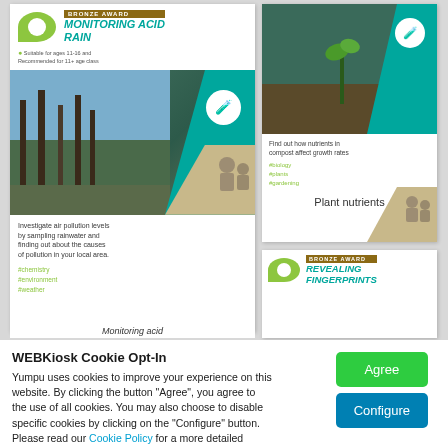[Figure (screenshot): Screenshot of a website showing educational science project cards. Left card: CREST Awards Bronze Award 'Monitoring Acid Rain' with forest image, teal and tan sections, and chemistry/environment/weather hashtags. Top right card: Plant nutrients practical project with seedling image and biology/plants/gardening hashtags. Bottom right card: CREST Awards Bronze Award 'Revealing Fingerprints'.]
Monitoring acid
Plant nutrients
WEBKiosk Cookie Opt-In
Yumpu uses cookies to improve your experience on this website. By clicking the button “Agree”, you agree to the use of all cookies. You may also choose to disable specific cookies by clicking on the “Configure” button. Please read our Cookie Policy for a more detailed description.